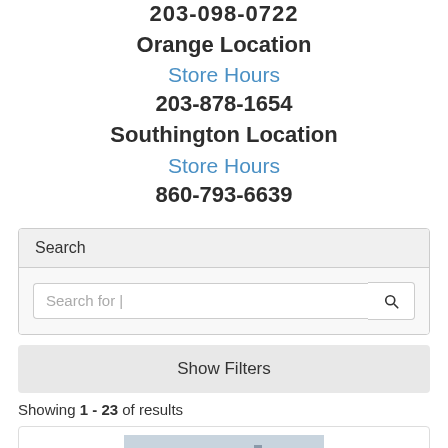203-878-1654 (partial phone at top, cut off)
Orange Location
Store Hours
203-878-1654
Southington Location
Store Hours
860-793-6639
Search
Search for |
Show Filters
Showing 1 - 23 of results
[Figure (photo): Partial product image at bottom of page]